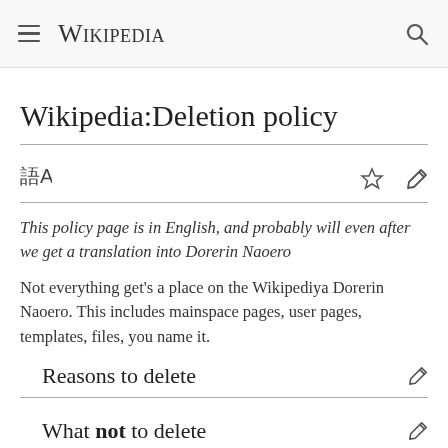Wikipedia
Wikipedia:Deletion policy
This policy page is in English, and probably will even after we get a translation into Dorerin Naoero
Not everything get's a place on the Wikipediya Dorerin Naoero. This includes mainspace pages, user pages, templates, files, you name it.
Reasons to delete
What not to delete